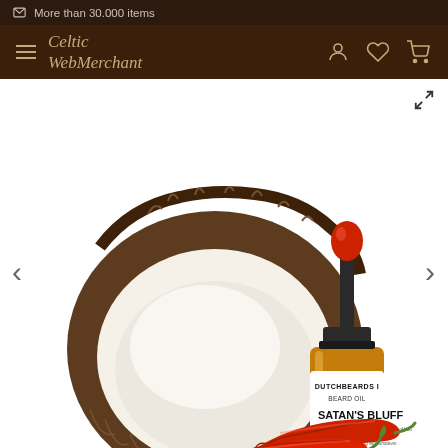More than 30.000 items
Celtic WebMerchant
[Figure (photo): Product photo showing a halved coconut, a small amber glass dropper bottle of Dutchbeards Beard Oil 'Satan's Bluff' with a red rubber top, and two red chili peppers on a white background.]